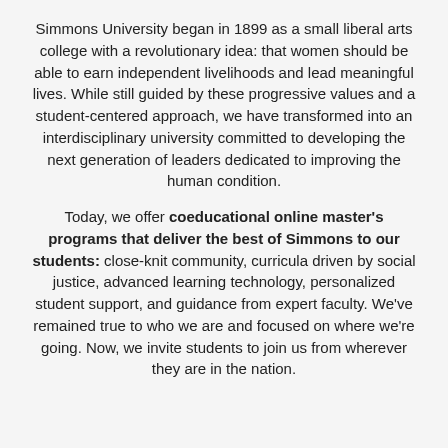Simmons University began in 1899 as a small liberal arts college with a revolutionary idea: that women should be able to earn independent livelihoods and lead meaningful lives. While still guided by these progressive values and a student-centered approach, we have transformed into an interdisciplinary university committed to developing the next generation of leaders dedicated to improving the human condition.
Today, we offer coeducational online master's programs that deliver the best of Simmons to our students: close-knit community, curricula driven by social justice, advanced learning technology, personalized student support, and guidance from expert faculty. We've remained true to who we are and focused on where we're going. Now, we invite students to join us from wherever they are in the nation.